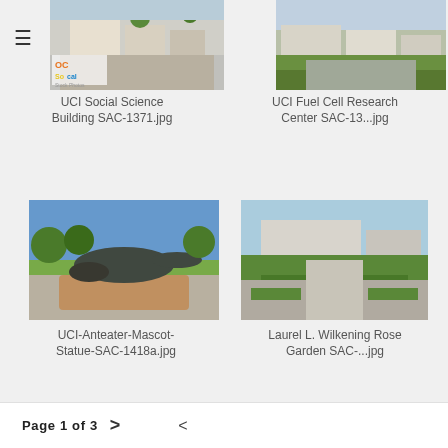[Figure (screenshot): Website screenshot showing image search results with a hamburger menu icon and OC/SoCal stock photos logo at top left. Four thumbnail images are displayed in a 2x2 grid: UCI Social Science Building, UCI Fuel Cell Research Center, UCI Anteater Mascot Statue, and Laurel L. Wilkening Rose Garden. Each image has a filename caption below it. Bottom bar shows Page 1 of 3 with next and share icons.]